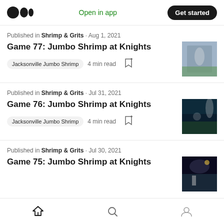Medium logo | Open in app | Get started
Published in Shrimp & Grits · Aug 1, 2021
Game 77: Jumbo Shrimp at Knights
Jacksonville Jumbo Shrimp  4 min read
Published in Shrimp & Grits · Jul 31, 2021
Game 76: Jumbo Shrimp at Knights
Jacksonville Jumbo Shrimp  4 min read
Published in Shrimp & Grits · Jul 30, 2021
Game 75: Jumbo Shrimp at Knights